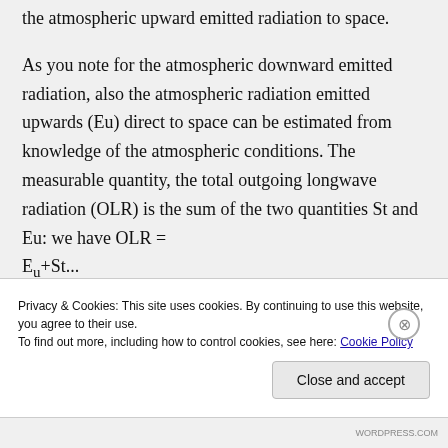the atmospheric upward emitted radiation to space.

As you note for the atmospheric downward emitted radiation, also the atmospheric radiation emitted upwards (Eu) direct to space can be estimated from knowledge of the atmospheric conditions. The measurable quantity, the total outgoing longwave radiation (OLR) is the sum of the two quantities St and Eu: we have OLR = Eu+St...
Privacy & Cookies: This site uses cookies. By continuing to use this website, you agree to their use.
To find out more, including how to control cookies, see here: Cookie Policy